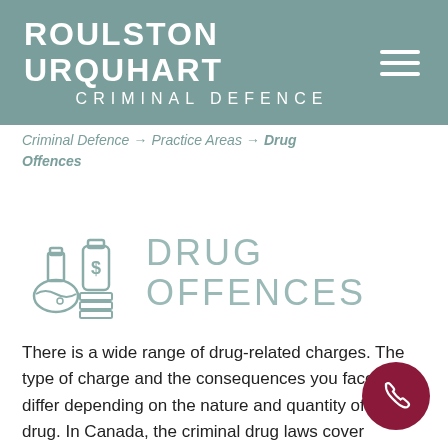ROULSTON URQUHART CRIMINAL DEFENCE
Criminal Defence → Practice Areas → Drug Offences
DRUG OFFENCES
[Figure (illustration): Icon of a chemistry flask and a bottle with dollar sign and a rectangular container/stack, rendered in muted teal outline style]
There is a wide range of drug-related charges. The type of charge and the consequences you face will differ depending on the nature and quantity of the drug. In Canada, the criminal drug laws cover possession, trafficking, possession for the purpose of trafficking, production, importation, and